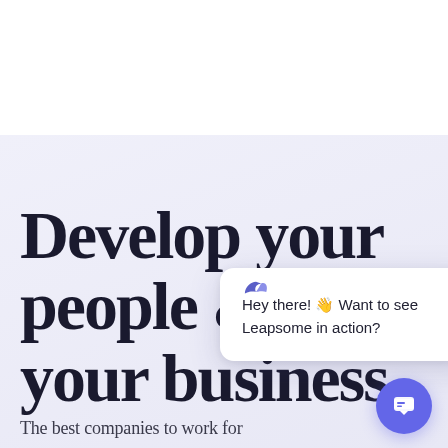[Figure (logo): Leapsome logo with stylized bird icon in purple/blue and bold text 'Leapsome']
Develop your people & your business
Hey there! 👋 Want to see Leapsome in action?
The best companies to work for